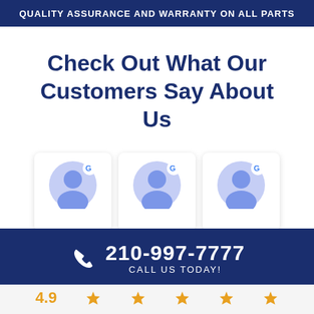QUALITY ASSURANCE AND WARRANTY ON ALL PARTS
Check Out What Our Customers Say About Us
[Figure (infographic): Three Google review profile cards side by side, each showing a generic blue Google user avatar with a Google 'G' logo badge in the top right corner]
210-997-7777 CALL US TODAY!
[Figure (infographic): Rating row showing 4.9 star rating with orange star icons]